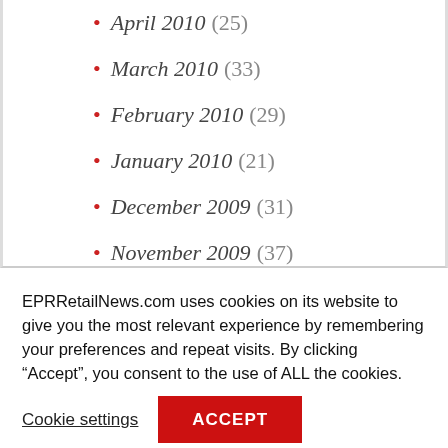April 2010 (25)
March 2010 (33)
February 2010 (29)
January 2010 (21)
December 2009 (31)
November 2009 (37)
October 2009 (26)
September 2009 (21)
EPRRetailNews.com uses cookies on its website to give you the most relevant experience by remembering your preferences and repeat visits. By clicking “Accept”, you consent to the use of ALL the cookies.
Cookie settings
ACCEPT